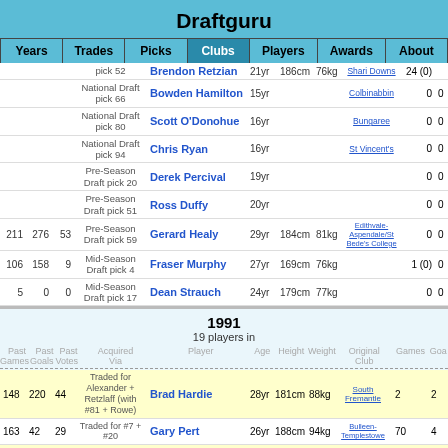Draftguru
Years | Trades | Picks | Clubs | Players | Awards | About
| Past Games | Past Goals | Past Votes | Acquired Via | Player | Age | Height | Weight | Original Club | Games | Goa... |
| --- | --- | --- | --- | --- | --- | --- | --- | --- | --- | --- |
|  |  |  | pick 52 | Brendon Retzian | 21yr | 186cm | 76kg | Shari Downs | 24 (0) |  |
|  |  |  | National Draft pick 66 | Bowden Hamilton | 15yr |  |  | Colbinabbin | 0 | 0 |
|  |  |  | National Draft pick 80 | Scott O'Donohue | 16yr |  |  | Bungaree | 0 | 0 |
|  |  |  | National Draft pick 94 | Chris Ryan | 16yr |  |  | St Vincent's | 0 | 0 |
|  |  |  | Pre-Season Draft pick 20 | Derek Percival | 19yr |  |  |  | 0 | 0 |
|  |  |  | Pre-Season Draft pick 51 | Ross Duffy | 20yr |  |  |  | 0 | 0 |
| 211 | 276 | 53 | Pre-Season Draft pick 59 | Gerard Healy | 29yr | 184cm | 81kg | Edithvale-Aspendale/St Bede's College | 0 | 0 |
| 106 | 158 | 9 | Mid-Season Draft pick 4 | Fraser Murphy | 27yr | 169cm | 76kg |  | 1 (0) | 0 |
| 5 | 0 | 0 | Mid-Season Draft pick 17 | Dean Strauch | 24yr | 179cm | 77kg |  | 0 | 0 |
1991
19 players in
| Past Games | Past Goals | Past Votes | Acquired Via | Player | Age | Height | Weight | Original Club | Games | Goa... |
| --- | --- | --- | --- | --- | --- | --- | --- | --- | --- | --- |
| 148 | 220 | 44 | Traded for Alexander + Retzlaff (with #81 + Rowe) | Brad Hardie | 28yr | 181cm | 88kg | South Fremantle | 2 | 2 |
| 163 | 42 | 29 | Traded for #7 + #20 | Gary Pert | 26yr | 188cm | 94kg | Bulleen-Templestowe | 70 | 4 |
| 14 | 9 | 2 | Traded for Alexander + Retzlaff (with #81 + Hardie) | Brad Rowe | 21yr | 174cm | 76kg | East Fremantle | 59 (51) | 71 |
| 13 | 4 | 0 | Traded for #33 | Tony Woods | 22yr | 185cm | 90kg | Old Paradians | 160 (18) | 32 |